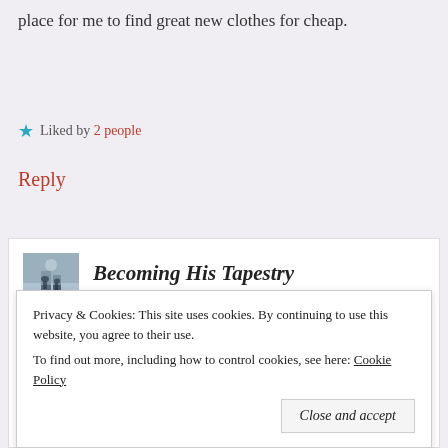place for me to find great new clothes for cheap.
Liked by 2 people
Reply
Becoming His Tapestry
wonder if I actually come to visit them
Privacy & Cookies: This site uses cookies. By continuing to use this website, you agree to their use. To find out more, including how to control cookies, see here: Cookie Policy
Close and accept